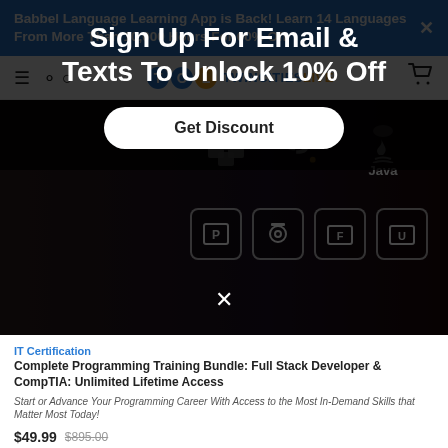Babbel Language Learning App is Back! Learn 14 Languages From More Than 10,000 Hours For 60% Off
[Figure (screenshot): Twin Cities Live website header with hamburger menu, search icon, TCL logo, and cart icon]
[Figure (screenshot): Hero image showing a tablet with code and programming language icons (Python, Java, blocks) and application icons, with a dark overlay modal]
Sign Up For Email & Texts To Unlock 10% Off
IT Certification
Complete Programming Training Bundle: Full Stack Developer & CompTIA: Unlimited Lifetime Access
Start or Advance Your Programming Career With Access to the Most In-Demand Skills that Matter Most Today!
$49.99  $895.00
[Figure (other): Get Discount button (white rounded rectangle)]